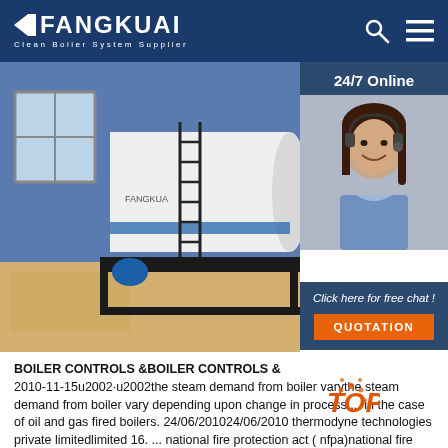FANGKUAI Clean Boiler System Supplier
[Figure (photo): Industrial boiler equipment in a room with blue walls, horizontal white cylindrical tank with ladder, and black frame structure]
24/7 Online
[Figure (photo): Customer service representative woman with headset smiling]
Click here for free chat !
QUOTATION
BOILER CONTROLS &BOILER CONTROLS & 2010-11-15u2002·u2002the steam demand from boiler varythe steam demand from boiler vary depending upon change in process ... in the case of oil and gas fired boilers. 24/06/201024/06/2010 thermodyne technologies private limitedlimited 16. ... national fire protection act ( nfpa)national fire protection act ( nfpa), usa is widely used all over the world